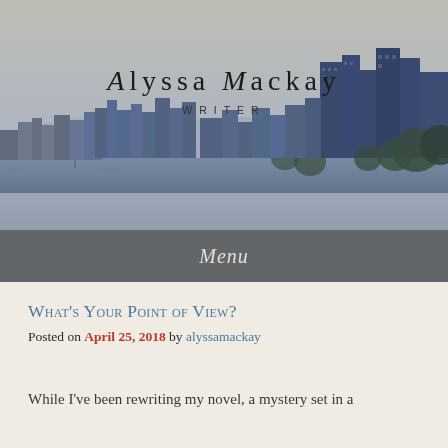[Figure (photo): Sepia-toned cityscape header image showing city skyline with waterfront, buildings, and trees in blue-grey tones]
Alyssa Mackay
Writer
Menu
What's Your Point of View?
Posted on April 25, 2018 by alyssamackay
While I've been rewriting my novel, a mystery set in a